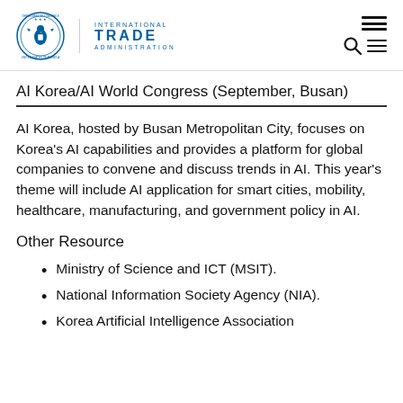International Trade Administration — Department of Commerce seal and navigation icons
AI Korea/AI World Congress (September, Busan)
AI Korea, hosted by Busan Metropolitan City, focuses on Korea's AI capabilities and provides a platform for global companies to convene and discuss trends in AI. This year's theme will include AI application for smart cities, mobility, healthcare, manufacturing, and government policy in AI.
Other Resource
Ministry of Science and ICT (MSIT).
National Information Society Agency (NIA).
Korea Artificial Intelligence Association